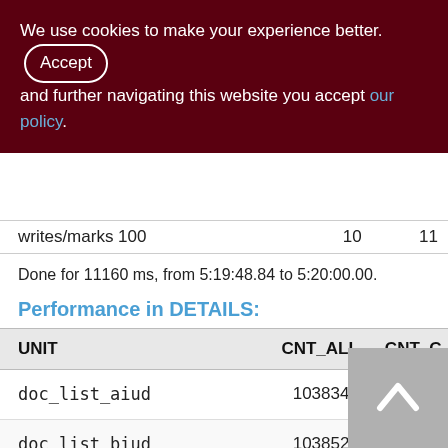We use cookies to make your experience better. By accepting and further navigating this website you accept our policy.
| writes/marks | 100 |  | 11 |
| --- | --- | --- | --- |
Done for 11160 ms, from 5:19:48.84 to 5:20:00.00.
Performance in DETAILS:
| UNIT | CNT_ALL | CNT_C |
| --- | --- | --- |
| doc_list_aiud | 1038348 | 9999 |
| doc_list_biud | 1038522 | 9999 |
| sp_add_invoice_to_stock | 7577 | 45 |